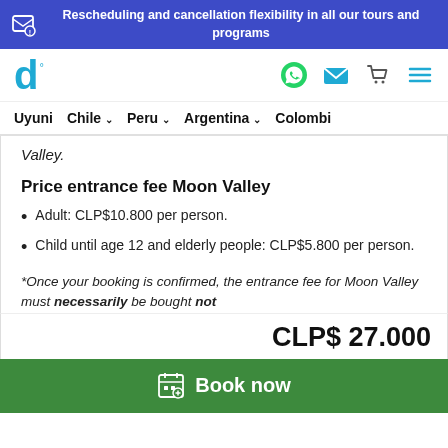Rescheduling and cancellation flexibility in all our tours and programs
[Figure (logo): Travel website logo with stylized 'd' letter in blue]
Uyuni  Chile  Peru  Argentina  Colombi
Valley.
Price entrance fee Moon Valley
Adult: CLP$10.800 per person.
Child until age 12 and elderly people: CLP$5.800 per person.
*Once your booking is confirmed, the entrance fee for Moon Valley must necessarily be bought not
CLP$ 27.000
Book now